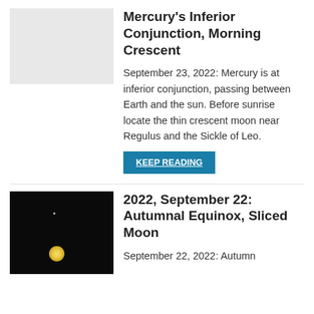[Figure (photo): Light gray placeholder thumbnail image for Mercury article]
Mercury's Inferior Conjunction, Morning Crescent
September 23, 2022: Mercury is at inferior conjunction, passing between Earth and the sun. Before sunrise locate the thin crescent moon near Regulus and the Sickle of Leo.
KEEP READING
[Figure (photo): Dark night sky photo showing a small star dot and a bright moon glow, for the Autumnal Equinox article]
2022, September 22: Autumnal Equinox, Sliced Moon
September 22, 2022: Autumn